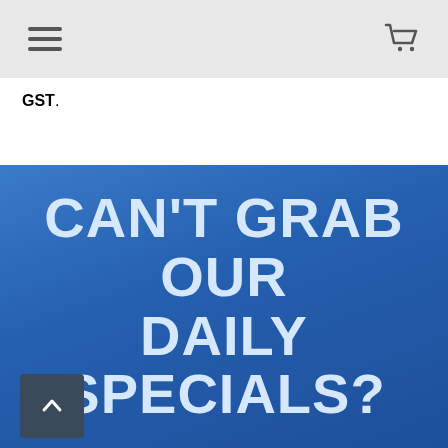[Navigation bar with hamburger menu and shopping cart icon]
GST.
CAN'T GRAB OUR DAILY SPECIALS?
Don't worry, our regular prices are also the lowest in Brisbane!
We look forward to seeing you at our next special.